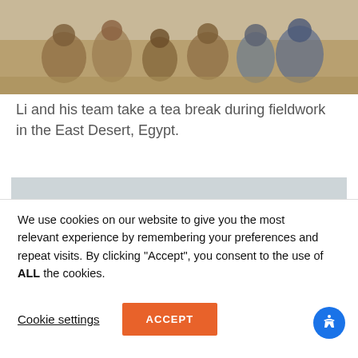[Figure (photo): People sitting on sand taking a tea break during fieldwork in the East Desert, Egypt. Several individuals visible against a sandy background.]
Li and his team take a tea break during fieldwork in the East Desert, Egypt.
[Figure (illustration): Scientific diagram showing a cross-section of Earth's interior layers, illustrating a Continental LIP, Supercontinent, Plume, Superplume, with labeled layers including 640 km depth. The diagram uses orange, yellow, magenta/purple color gradients to represent different layers.]
We use cookies on our website to give you the most relevant experience by remembering your preferences and repeat visits. By clicking “Accept”, you consent to the use of ALL the cookies.
Cookie settings
ACCEPT